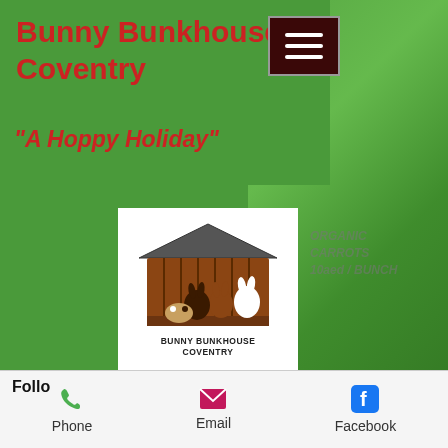Bunny Bunkhouse Coventry
"A Hoppy Holiday"
[Figure (logo): Bunny Bunkhouse Coventry logo showing a wooden hutch with rabbits and guinea pigs inside, text reads BUNNY BUNKHOUSE COVENTRY]
Small Pet Boarding
Luxury boarding facilities
Mobile:  07583 456533
Landline:  024 7664 4734
Email:
bunnybunkhousecoventry@gmail.com
Follo
Phone   Email   Facebook